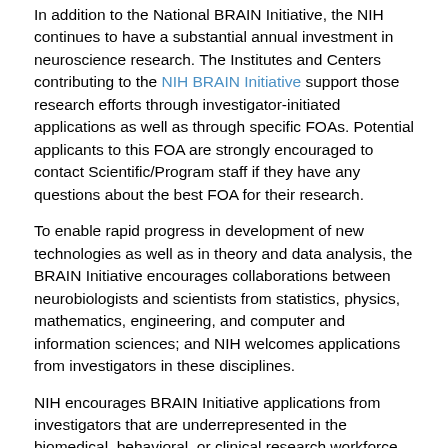In addition to the National BRAIN Initiative, the NIH continues to have a substantial annual investment in neuroscience research. The Institutes and Centers contributing to the NIH BRAIN Initiative support those research efforts through investigator-initiated applications as well as through specific FOAs. Potential applicants to this FOA are strongly encouraged to contact Scientific/Program staff if they have any questions about the best FOA for their research.
To enable rapid progress in development of new technologies as well as in theory and data analysis, the BRAIN Initiative encourages collaborations between neurobiologists and scientists from statistics, physics, mathematics, engineering, and computer and information sciences; and NIH welcomes applications from investigators in these disciplines.
NIH encourages BRAIN Initiative applications from investigators that are underrepresented in the biomedical, behavioral, or clinical research workforce (see data at http://wwww.nsf.gov/statistics/showpub.cfm?TopID=2&SubID=27 and the most recent report on Women, Minorities, and Persons with Disabilities in Science and Engineering). Such individuals include those from underrepresented racial and ethnic groups, those with disabilities, and those from disadvantaged backgrounds.
The BRAIN Initiative will require a high level of coordination and